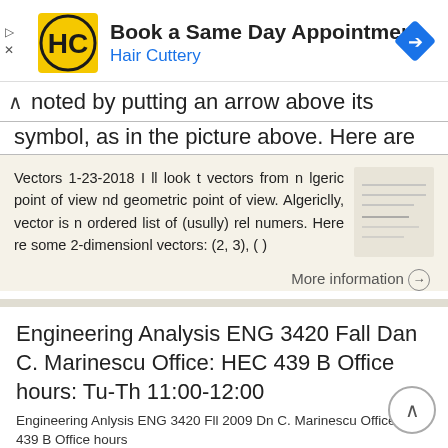[Figure (infographic): Advertisement banner for Hair Cuttery showing logo, 'Book a Same Day Appointment' text, and a navigation arrow icon]
noted by putting an arrow above its symbol, as in the picture above. Here are
Vectors 1-23-2018 I ll look t vectors from n lgeric point of view nd geometric point of view. Algericlly, vector is n ordered list of (usully) rel numers. Here re some 2-dimensionl vectors: (2, 3), ( )
More information →
Engineering Analysis ENG 3420 Fall Dan C. Marinescu Office: HEC 439 B Office hours: Tu-Th 11:00-12:00
Engineering Anlysis ENG 3420 Fll 2009 Dn C. Marinescu Office HEC 439 B Office hours